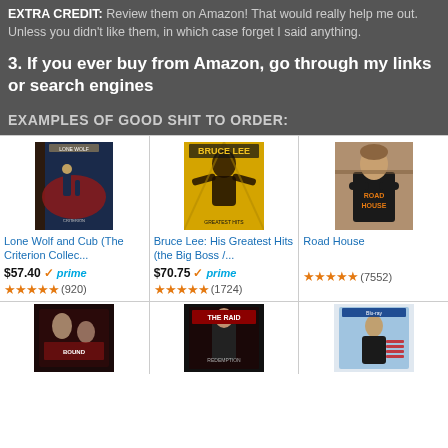EXTRA CREDIT: Review them on Amazon! That would really help me out. Unless you didn't like them, in which case forget I said anything.
3. If you ever buy from Amazon, go through my links or search engines
EXAMPLES OF GOOD SHIT TO ORDER:
[Figure (photo): Lone Wolf and Cub Criterion Collection box set cover art]
Lone Wolf and Cub (The Criterion Collec...
$57.40 ✓prime ★★★★★ (920)
[Figure (photo): Bruce Lee: His Greatest Hits DVD set cover art]
Bruce Lee: His Greatest Hits (the Big Boss /...
$70.75 ✓prime ★★★★★ (1724)
[Figure (photo): Road House movie - man in Road House t-shirt with arms crossed]
Road House
★★★★★ (7552)
[Figure (photo): Bottom row left - movie cover art]
[Figure (photo): The Raid: Redemption movie cover art]
[Figure (photo): Bottom row right - Blu-ray movie cover art]